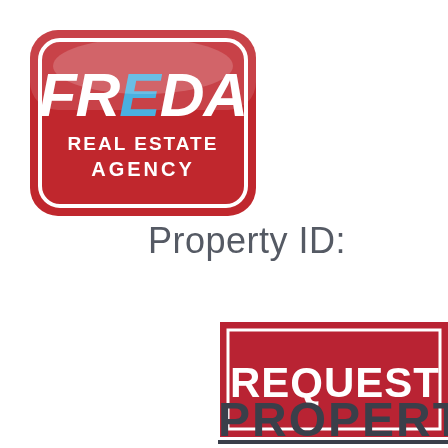[Figure (logo): Freda Real Estate Agency logo — red rounded rectangle badge with white inner border, white text reading FREDA in large letters with Real Estate Agency below in smaller caps]
Property ID:
[Figure (other): Red button/banner with white border and white bold text reading REQUEST (partially cut off at right edge)]
PROPERT (partially cut off at right edge)